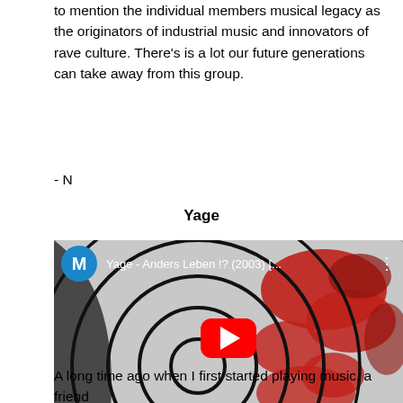to mention the individual members musical legacy as the originators of industrial music and innovators of rave culture. There's is a lot our future generations can take away from this group.
- N
Yage
[Figure (screenshot): YouTube video embed showing 'Yage - Anders Leben !? (2003) [...]' with a circular graphic thumbnail in grey/red/black, a blue avatar with letter M, and a red play button.]
A long time ago when I first started playing music, a friend